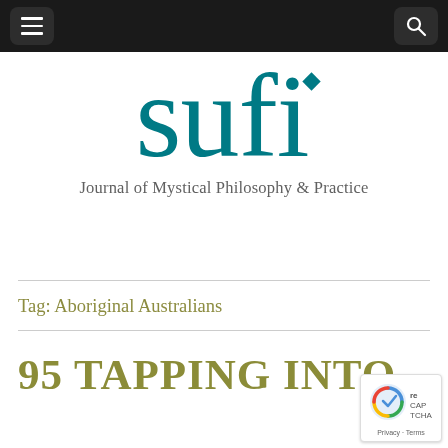sufi — Journal of Mystical Philosophy & Practice
[Figure (logo): SUFI journal logo — large teal lowercase 'sufi' with a small diamond above the 'i', subtitle reads 'Journal of Mystical Philosophy & Practice']
Tag: Aboriginal Australians
95 TAPPING INTO